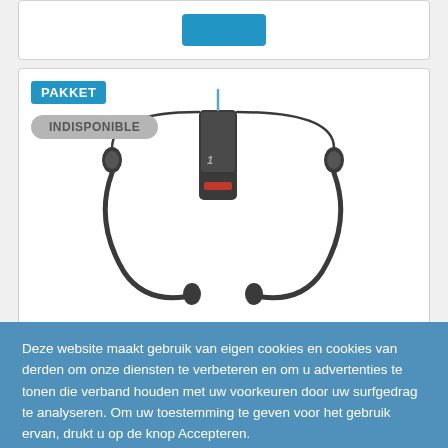[Figure (screenshot): Product card top with a blue button partially visible]
[Figure (photo): Sennheiser wireless headphone set with transmitter base station and two neckband earphone receivers. PAKKET badge in blue, INDISPONIBLE badge in grey.]
Deze website maakt gebruik van eigen cookies en cookies van derden om onze diensten te verbeteren en om u advertenties te tonen die verband houden met uw voorkeuren door uw surfgedrag te analyseren. Om uw toestemming te geven voor het gebruik ervan, drukt u op de knop Accepteren.
Meer informatie   Cookies aanpassen
ALLES AFWIJZEN
IK AANVAARD